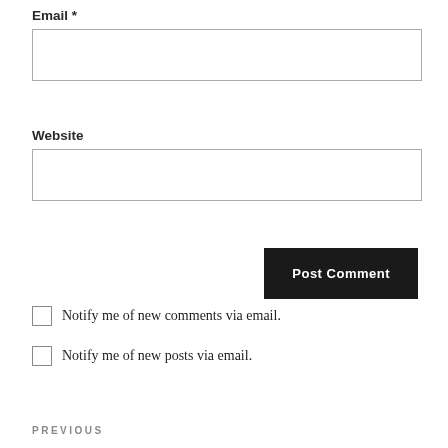Email *
Website
Post Comment
Notify me of new comments via email.
Notify me of new posts via email.
PREVIOUS